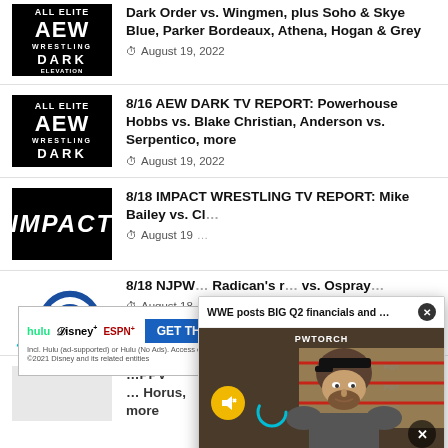Dark Order vs. Wingmen, plus Soho & Skye Blue, Parker Bordeaux, Athena, Hogan & Grey
8/16 AEW DARK TV REPORT: Powerhouse Hobbs vs. Blake Christian, Anderson vs. Serpentico, more
8/18 IMPACT WRESTLING TV REPORT: Mike Bailey vs. Cl... (partially obscured)
8/18 NJPW... Radican's r... vs. Ospray...
[Figure (screenshot): Video popup overlay: WWE posts BIG Q2 financials and Wrestl... with PWTORCH branding, mute button, loading spinner, and close button. Shows a man wearing a black cap.]
[Figure (infographic): Disney Bundle advertisement: hulu Disney+ ESPN+ GET THE DISNEY BUNDLE. Incl. Hulu (ad-supported) or Hulu (No Ads). Access content from each service separately. ©2021 Disney and its related entities]
...PPV ... Horus, more